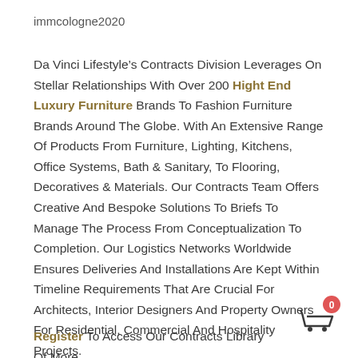immcologne2020
Da Vinci Lifestyle’s Contracts Division Leverages On Stellar Relationships With Over 200 Hight End Luxury Furniture Brands To Fashion Furniture Brands Around The Globe. With An Extensive Range Of Products From Furniture, Lighting, Kitchens, Office Systems, Bath & Sanitary, To Flooring, Decoratives & Materials. Our Contracts Team Offers Creative And Bespoke Solutions To Briefs To Manage The Process From Conceptualization To Completion. Our Logistics Networks Worldwide Ensures Deliveries And Installations Are Kept Within Timeline Requirements That Are Crucial For Architects, Interior Designers And Property Owners For Residential, Commercial And Hospitality Projects.
Register To Access Our Contracts Library Of More